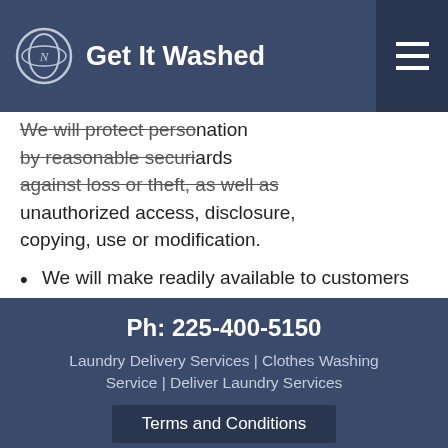Get It Washed
accurate, complete and up-to-date. We will protect personal information by reasonable security safeguards against loss or theft, as well as unauthorized access, disclosure, copying, use or modification.
We will make readily available to customers information about our policies and practices relating to the management of personal information.
We are committed to conducting our business in accordance with these principles in order to ensure that the confidentiality of personal information is protected and maintained.
Ph: 225-400-5150
Laundry Delivery Services | Clothes Washing Service | Deliver Laundry Services
Terms and Conditions